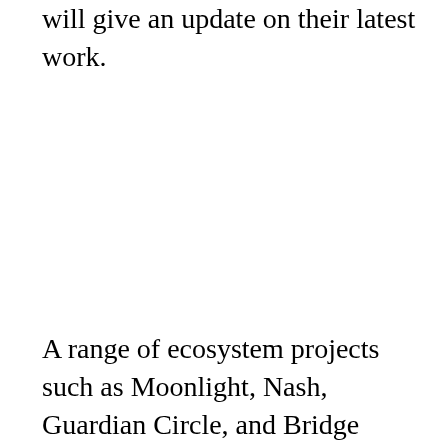will give an update on their latest work.
A range of ecosystem projects such as Moonlight, Nash, Guardian Circle, and Bridge Protocol will share insights on the progress of their dApps, as